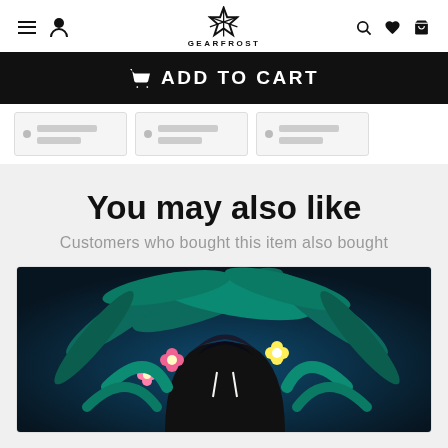GEARFROST - navigation header with menu, user, search, wishlist, cart icons
ADD TO CART
[Figure (screenshot): Three product thumbnail cards partially visible]
You may also like
Customers who bought this item also bought
[Figure (photo): Tropical floral patterned hoodie with dark background featuring teal palm leaves and colorful flowers]